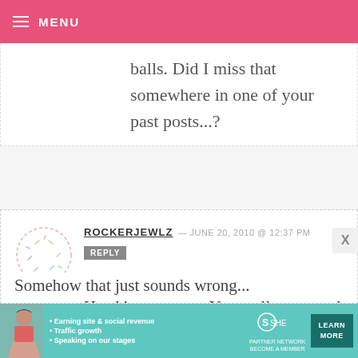MENU
balls. Did I miss that somewhere in one of your past posts...?
ROCKERJEWLZ — JUNE 20, 2010 @ 12:37 PM
REPLY

Wow, Hamm is good but Mr. Potato Head is awesome. You really captured his personality! There is going to be an Elvis Mr. Potato Head. His estate approved it last week.
Somehow that just sounds wrong...